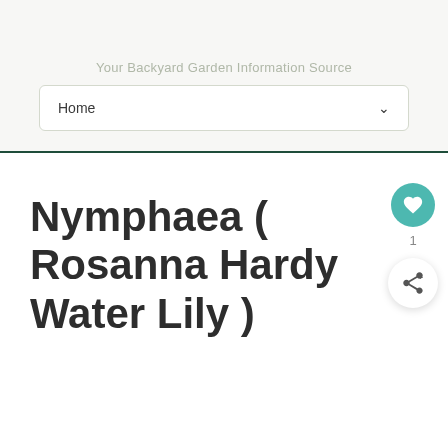Your Backyard Garden Information Source
Home
Nymphaea ( Rosanna Hardy Water Lily )